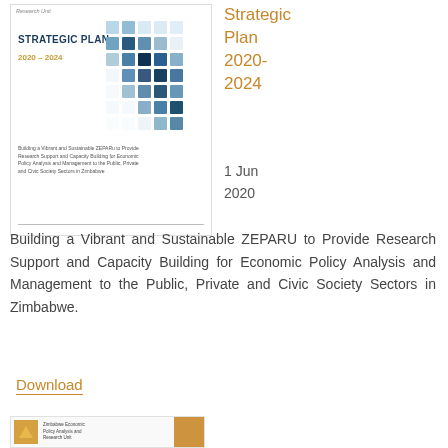[Figure (illustration): Cover image of ZEPARU Strategic Plan 2020-2024 document with blue mosaic tile design]
Strategic Plan 2020-2024
1 Jun 2020
Building a Vibrant and Sustainable ZEPARU to Provide Research Support and Capacity Building for Economic Policy Analysis and Management to the Public, Private and Civic Society Sectors in Zimbabwe.
Download
[Figure (logo): Zimbabwe Economic Policy Analysis and Research Unit logo at bottom]